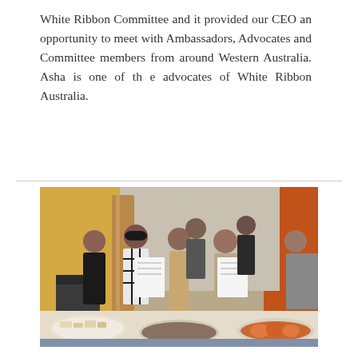White Ribbon Committee and it provided our CEO an opportunity to meet with Ambassadors, Advocates and Committee members from around Western Australia. Asha is one of th e advocates of White Ribbon Australia.
[Figure (photo): Group photo of approximately 7 people standing indoors, two of whom are holding open notebooks/documents. A table in the foreground is covered with plates of food and snacks. The setting appears to be a community meeting room with yellow and orange walls.]